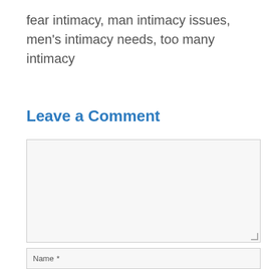fear intimacy, man intimacy issues, men's intimacy needs, too many intimacy
Leave a Comment
[Figure (other): A large empty comment textarea input box with a light gray background and a resize handle in the bottom-right corner]
[Figure (other): A name input field partially visible at the bottom of the page with a label 'Name *']